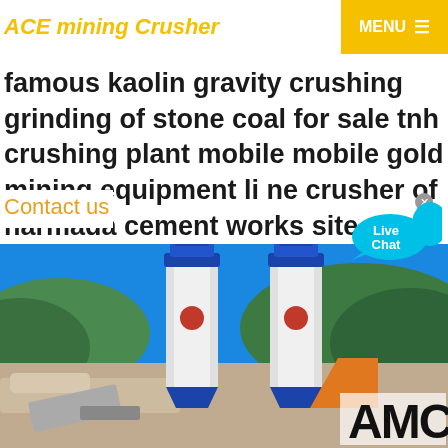ACE mining Crusher | MENU
chanical aerosol Cascade steel rolling mills Exp... w Of 4 25 Simons Cone Crusher stainless grinding machine
famous kaolin gravity crushing grinding of stone coal for sale tnh crushing plant mobile mobile gold mining equipment li ne crusher of narmada cement works site com
Contact us
[Figure (photo): Industrial mining site with two tall white cylindrical silos with blue caps, set against a blue sky with green hills in the background, and heavy equipment at the base. AMC logo visible in lower right.]